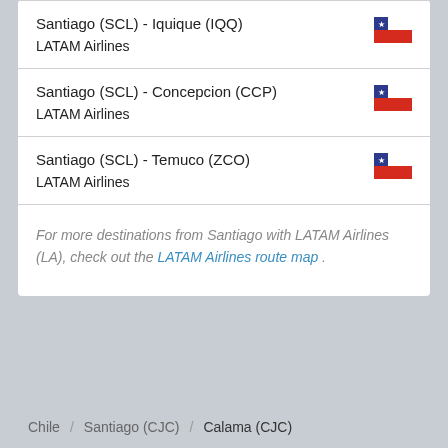Santiago (SCL) - Iquique (IQQ)
LATAM Airlines
Santiago (SCL) - Concepcion (CCP)
LATAM Airlines
Santiago (SCL) - Temuco (ZCO)
LATAM Airlines
For more destinations from Santiago with LATAM Airlines (LA), check out the LATAM Airlines route map .
Chile / Santiago (CJC) / Calama (CJC)